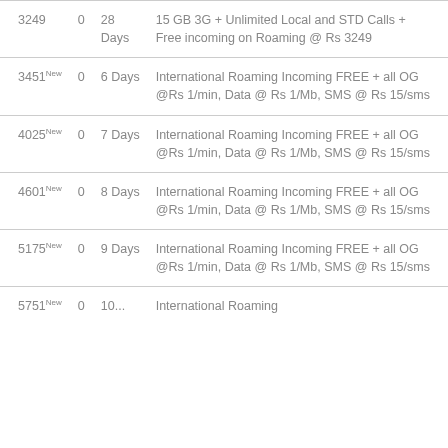| 3249 | 0 | 28 Days | 15 GB 3G + Unlimited Local and STD Calls + Free incoming on Roaming @ Rs 3249 |
| 3451New | 0 | 6 Days | International Roaming Incoming FREE + all OG @Rs 1/min, Data @ Rs 1/Mb, SMS @ Rs 15/sms |
| 4025New | 0 | 7 Days | International Roaming Incoming FREE + all OG @Rs 1/min, Data @ Rs 1/Mb, SMS @ Rs 15/sms |
| 4601New | 0 | 8 Days | International Roaming Incoming FREE + all OG @Rs 1/min, Data @ Rs 1/Mb, SMS @ Rs 15/sms |
| 5175New | 0 | 9 Days | International Roaming Incoming FREE + all OG @Rs 1/min, Data @ Rs 1/Mb, SMS @ Rs 15/sms |
| 5751New | 0 | 10... | International Roaming... |